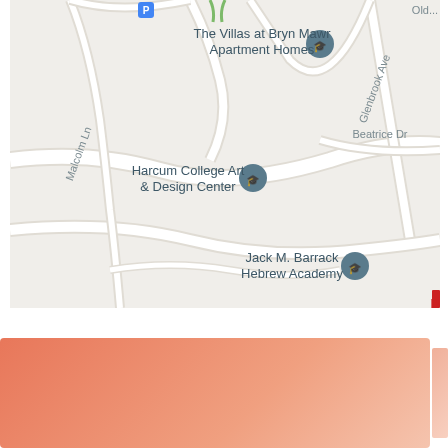[Figure (map): Google Maps screenshot showing Bryn Mawr area with landmarks: The Villas at Bryn Mawr Apartment Homes, Harcum College Art & Design Center, Jack M. Barrack Hebrew Academy. Street labels include Malcolm Ln, Glenbrook Ave, Beatrice Dr, Old [truncated]. Road network shown on light gray background.]
[Figure (other): Orange-salmon gradient rectangular block at bottom of page, with a smaller lighter tab on the right edge.]